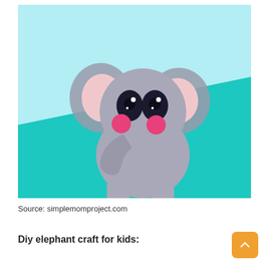[Figure (photo): A DIY paper elephant craft for kids against a teal and light blue background. The elephant is made from gray cardstock paper with pink inner ears, large dark navy eyes with white highlights, pink circular cheeks, a curved trunk, and white scalloped feet/toes. The craft sits on a teal surface with a light blue background.]
Source: simplemomproject.com
Diy elephant craft for kids: